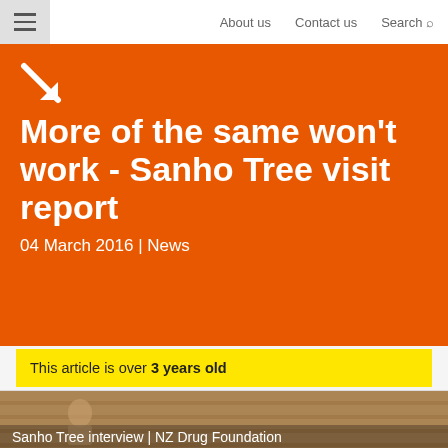About us | Contact us | Search
More of the same won't work - Sanho Tree visit report
04 March 2016 | News
This article is over 3 years old
[Figure (screenshot): Sanho Tree interview | NZ Drug Foundation - video thumbnail showing a person being interviewed]